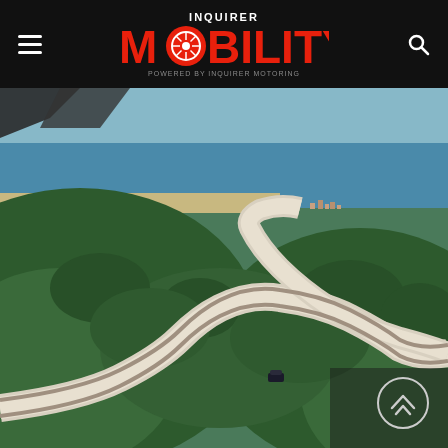Inquirer Mobility – navigation bar
[Figure (logo): Inquirer Mobility logo: red MOBILITY text with wheel icon replacing the O, INQUIRER text above in white, POWERED BY INQUIRER MOTORING tagline below]
[Figure (photo): Aerial drone photo of a winding concrete road through lush green tropical hillside with ocean and beach visible in the background, a dark car visible on the road]